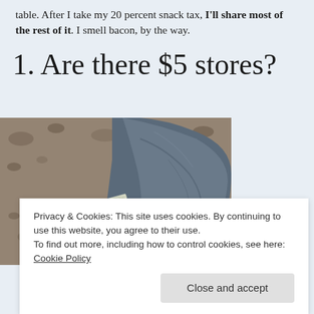table. After I take my 20 percent snack tax, I'll share most of the rest of it. I smell bacon, by the way.
1. Are there $5 stores?
[Figure (photo): Photo of folded paper money (bills) pinned under a large rock on sandy/gravelly ground]
Privacy & Cookies: This site uses cookies. By continuing to use this website, you agree to their use.
To find out more, including how to control cookies, see here: Cookie Policy